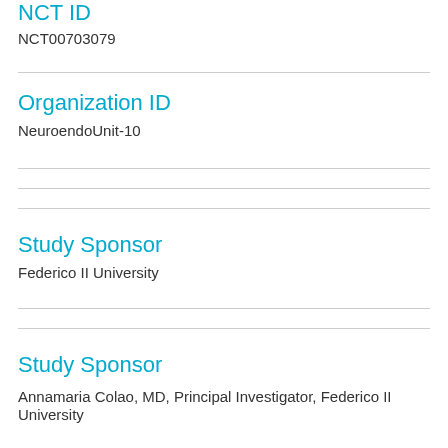NCT ID
NCT00703079
Organization ID
NeuroendoUnit-10
Study Sponsor
Federico II University
Study Sponsor
Annamaria Colao, MD, Principal Investigator, Federico II University